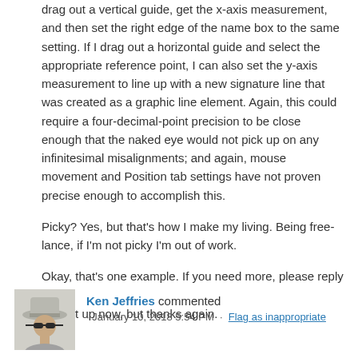drag out a vertical guide, get the x-axis measurement, and then set the right edge of the name box to the same setting. If I drag out a horizontal guide and select the appropriate reference point, I can also set the y-axis measurement to line up with a new signature line that was created as a graphic line element. Again, this could require a four-decimal-point precision to be close enough that the naked eye would not pick up on any infinitesimal misalignments; and again, mouse movement and Position tab settings have not proven precise enough to accomplish this.
Picky? Yes, but that's how I make my living. Being free-lance, if I'm not picky I'm out of work.
Okay, that's one example. If you need more, please reply here.
I'll shut up now, but thanks again.
Ken Jeffries commented · January 10, 2018 5:54 PM · Flag as inappropriate